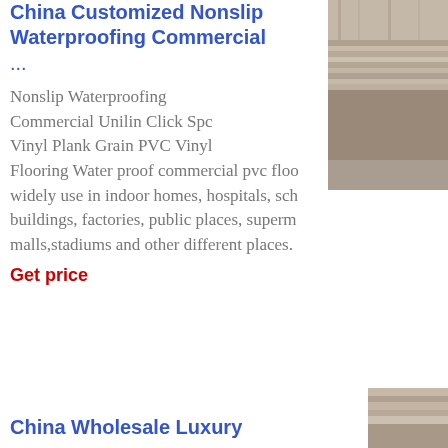China Customized Nonslip Waterproofing Commercial ...
[Figure (photo): Photo of vinyl plank flooring installed in a room, showing wood-grain texture with furniture visible]
Nonslip Waterproofing Commercial Unilin Click Spc Vinyl Plank Grain PVC Vinyl Flooring Water proof commercial pvc floo widely use in indoor homes, hospitals, sch buildings, factories, public places, superm malls,stadiums and other different places.
Get price
China Wholesale Luxury
[Figure (photo): Partial photo of flooring product at bottom right]